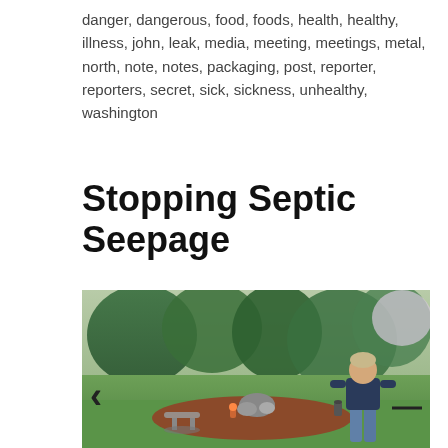danger, dangerous, food, foods, health, healthy, illness, john, leak, media, meeting, meetings, metal, north, note, notes, packaging, post, reporter, reporters, secret, sick, sickness, unhealthy, washington
Stopping Septic Seepage
[Figure (photo): A man in a dark blue sweatshirt and jeans standing on green grass next to a decorative garden area with rocks, mulch, garden ornaments, and a small stone table. Trees and shrubs are in the background. Navigation arrows (left and right) are overlaid on the photo.]